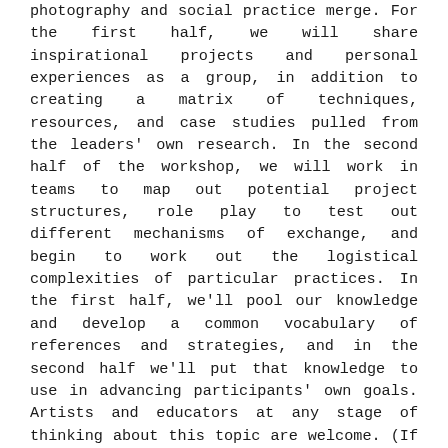photography and social practice merge. For the first half, we will share inspirational projects and personal experiences as a group, in addition to creating a matrix of techniques, resources, and case studies pulled from the leaders' own research. In the second half of the workshop, we will work in teams to map out potential project structures, role play to test out different mechanisms of exchange, and begin to work out the logistical complexities of particular practices. In the first half, we'll pool our knowledge and develop a common vocabulary of references and strategies, and in the second half we'll put that knowledge to use in advancing participants' own goals. Artists and educators at any stage of thinking about this topic are welcome. (If you've never thought about it before but feel curious, that's fine! If you've done a lot of work in this area, that's great too–we'll put your knowledge to work.) One of the goals of this workshop is to convene a dialogue that brings the Cincinnati arts community together to share ideas and experiences relating to this topic.